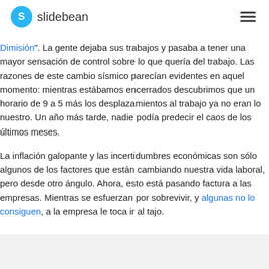S slidebean
Dimisión". La gente dejaba sus trabajos y pasaba a tener una mayor sensación de control sobre lo que quería del trabajo. Las razones de este cambio sísmico parecían evidentes en aquel momento: mientras estábamos encerrados descubrimos que un horario de 9 a 5 más los desplazamientos al trabajo ya no eran lo nuestro. Un año más tarde, nadie podía predecir el caos de los últimos meses.
La inflación galopante y las incertidumbres económicas son sólo algunos de los factores que están cambiando nuestra vida laboral, pero desde otro ángulo. Ahora, esto está pasando factura a las empresas. Mientras se esfuerzan por sobrevivir, y algunas no lo consiguen, a la empresa le toca ir al tajo.